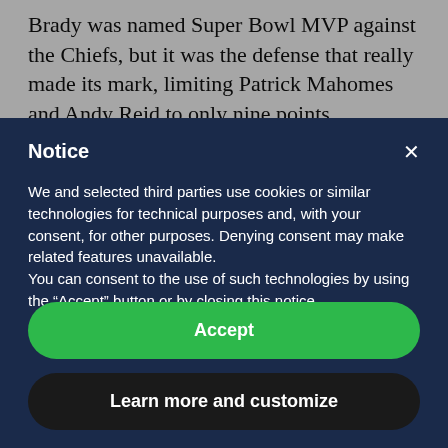Brady was named Super Bowl MVP against the Chiefs, but it was the defense that really made its mark, limiting Patrick Mahomes and Andy Reid to only nine points.
Tampa Bay's 11-5 record was a massive improvement over their 7-9 record a season prior and was their most
Notice
We and selected third parties use cookies or similar technologies for technical purposes and, with your consent, for other purposes. Denying consent may make related features unavailable.
You can consent to the use of such technologies by using the “Accept” button or by closing this notice.
Accept
Learn more and customize